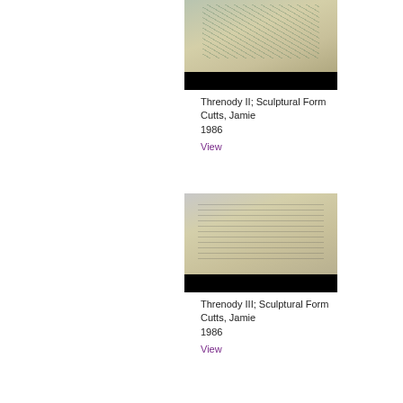[Figure (photo): Ceramic sculptural form by Jamie Cutts, a box-like pottery piece with decorative swirling patterns in green/teal on cream background, 1986]
Threnody II; Sculptural Form
Cutts, Jamie
1986
View
[Figure (photo): Ceramic sculptural form by Jamie Cutts, a box-like pottery piece with horizontal ridged patterns and a small protrusion on top, decorated with plant motifs, 1986]
Threnody III; Sculptural Form
Cutts, Jamie
1986
View